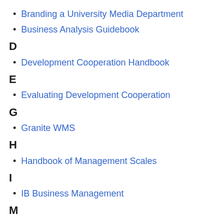Branding a University Media Department
Business Analysis Guidebook
D
Development Cooperation Handbook
E
Evaluating Development Cooperation
G
Granite WMS
H
Handbook of Management Scales
I
IB Business Management
M